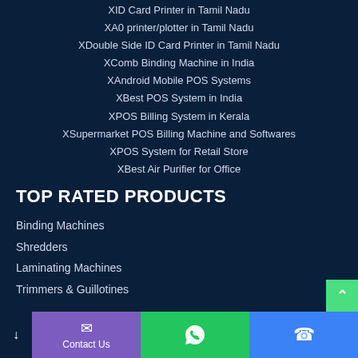XID Card Printer in Tamil Nadu
XA0 printer/plotter in Tamil Nadu
XDouble Side ID Card Printer in Tamil Nadu
XComb Binding Machine in India
XAndroid Mobile POS Systems
XBest POS System in India
XPOS Billing System in Kerala
XSupermarket POS Billing Machine and Softwares
XPOS System for Retail Store
XBest Air Purifier for Office
TOP RATED PRODUCTS
Binding Machines
Shredders
Laminating Machines
Trimmers & Guillotines
OUR PRODUCTS
Binding Machines
Contact Us | WhatsApp | Phone